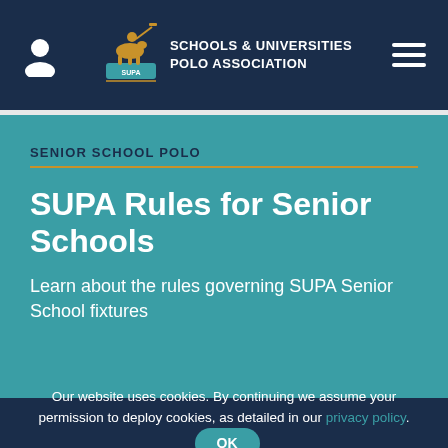SCHOOLS & UNIVERSITIES POLO ASSOCIATION
SENIOR SCHOOL POLO
SUPA Rules for Senior Schools
Learn about the rules governing SUPA Senior School fixtures
Our website uses cookies. By continuing we assume your permission to deploy cookies, as detailed in our privacy policy.